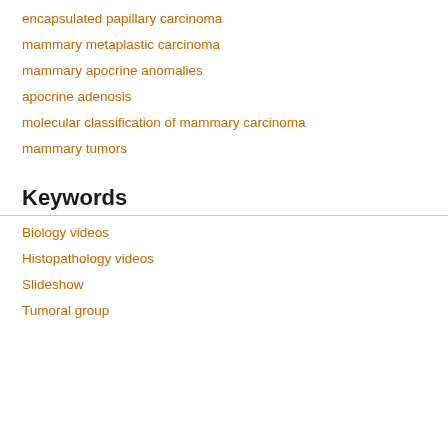encapsulated papillary carcinoma
mammary metaplastic carcinoma
mammary apocrine anomalies
apocrine adenosis
molecular classification of mammary carcinoma
mammary tumors
Keywords
Biology videos
Histopathology videos
Slideshow
Tumoral group